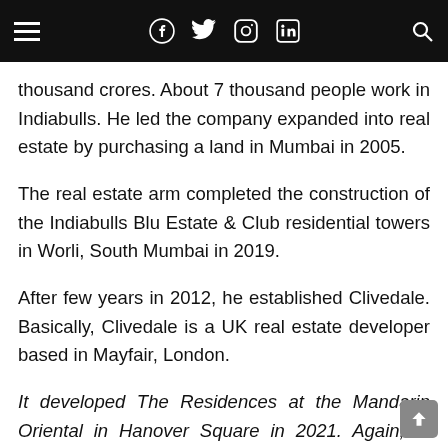Navigation bar with hamburger menu, Facebook, Twitter, Instagram, LinkedIn icons and search icon
thousand crores. About 7 thousand people work in Indiabulls. He led the company expanded into real estate by purchasing a land in Mumbai in 2005.
The real estate arm completed the construction of the Indiabulls Blu Estate & Club residential towers in Worli, South Mumbai in 2019.
After few years in 2012, he established Clivedale. Basically, Clivedale is a UK real estate developer based in Mayfair, London.
It developed The Residences at the Mandarin Oriental in Hanover Square in 2021. Again, in 2015